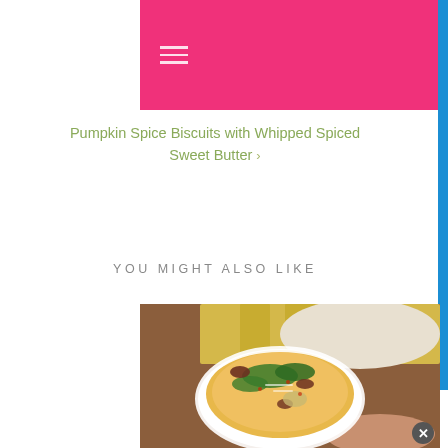[Figure (screenshot): Pink navigation bar with hamburger menu icon (three horizontal lines) on the left side]
Pumpkin Spice Biscuits with Whipped Spiced Sweet Butter >
YOU MIGHT ALSO LIKE
[Figure (photo): Overhead photo of a white bowl containing a savory dish with eggs, greens (kale), bacon, artichokes, and grated cheese, held by a person's hand with manicured nails. Yellow cloth napkin and wooden board in background.]